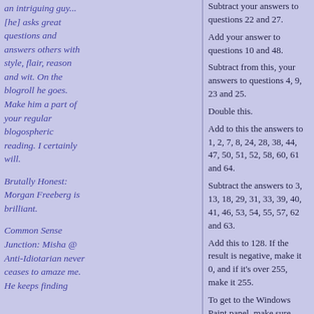an intriguing guy... [he] asks great questions and answers others with style, flair, reason and wit. On the blogroll he goes. Make him a part of your regular blogospheric reading. I certainly will.
Brutally Honest: Morgan Freeberg is brilliant.
Common Sense Junction: Misha @ Anti-Idiotarian never ceases to amaze me. He keeps finding
Subtract your answers to questions 22 and 27. Add your answer to questions 10 and 48. Subtract from this, your answers to questions 4, 9, 23 and 25. Double this. Add to this the answers to 1, 2, 7, 8, 24, 28, 38, 44, 47, 50, 51, 52, 58, 60, 61 and 64. Subtract the answers to 3, 13, 18, 29, 31, 33, 39, 40, 41, 46, 53, 54, 55, 57, 62 and 63. Add this to 128. If the result is negative, make it 0, and if it’s over 255, make it 255.
To get to the Windows Paint panel, make sure your colors toolbox is showing at the bottom, then double-click a color — any color. You’ll get a panel that allows you to change the color to something not already in the toolbox, and somewhere in there you should see a push button for “custom colors.” Push that and you’ll get the red, green and blue edit boxes.
Enter the red value into the red edit box, the green value into the green edit box, and the blue value into the blue edit box. The result is your color. Mine is here: [purple swatch]
Update 11/22/07: Because Thanksgiving is a day